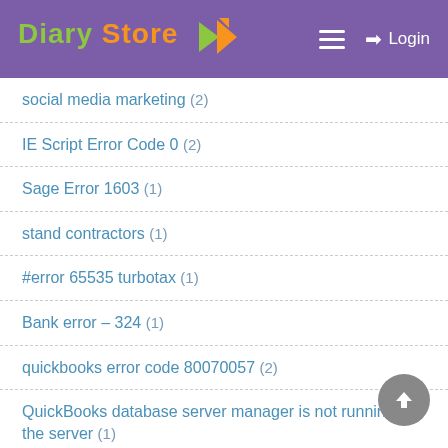Diary Store — Login
social media marketing (2)
IE Script Error Code 0 (2)
Sage Error 1603 (1)
stand contractors (1)
#error 65535 turbotax (1)
Bank error – 324 (1)
quickbooks error code 80070057 (2)
QuickBooks database server manager is not running on the server (1)
#reset bellsouth email (1)
#bellsouth support (1)
QuickBooks error 6190 and 816 (1)
Outlook Freezes when Sending Emails from…